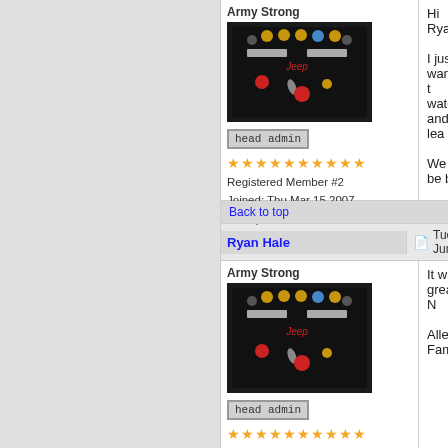Army Strong
[Figure (photo): A military medals display case with various medals and ribbons mounted on dark background]
head admin
★★★★★★★★★★
Registered Member #2
Joined: Thu Mar 15 2007, 02:17pm
Posts: 7577
Hi Ryan,

I just wanted to water and lea

We will be ba

Thank you,
Bryan
Back to top
Ryan Hale
Tue Jun 3
Army Strong
[Figure (photo): A military medals display case with various medals and ribbons mounted on dark background]
head admin
★★★★★★★★★★
Registered Member #2
Joined: Thu Mar 15 2007,
It was great! N

Allen Family